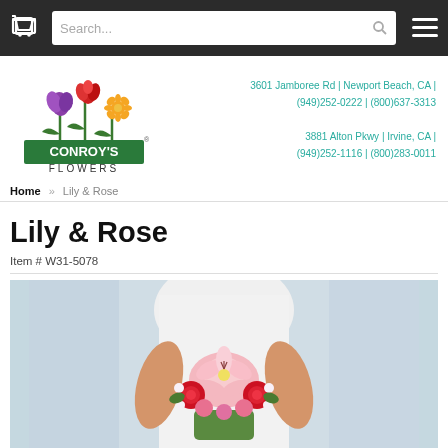Search... [cart icon] [menu icon]
[Figure (logo): Conroy's Flowers logo with tulip, rose, and daisy flowers above green banner reading CONROY'S FLOWERS]
3601 Jamboree Rd | Newport Beach, CA | (949)252-0222 | (800)637-3313
3881 Alton Pkwy | Irvine, CA | (949)252-1116 | (800)283-0011
Home » Lily & Rose
Lily & Rose
Item # W31-5078
[Figure (photo): Bride holding a large bouquet of pink stargazer lilies, red roses, and pink carnations against a white dress background]